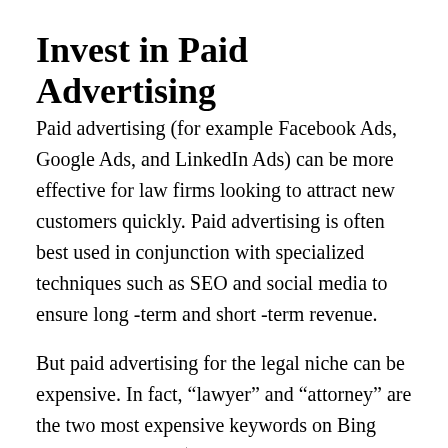Invest in Paid Advertising
Paid advertising (for example Facebook Ads, Google Ads, and LinkedIn Ads) can be more effective for law firms looking to attract new customers quickly. Paid advertising is often best used in conjunction with specialized techniques such as SEO and social media to ensure long‑term and short‑term revenue.
But paid advertising for the legal niche can be expensive. In fact, “lawyer” and “attorney” are the two most expensive keywords on Bing Ads, costing over $ 100 per click!
With this in mind, it’s best to work with...